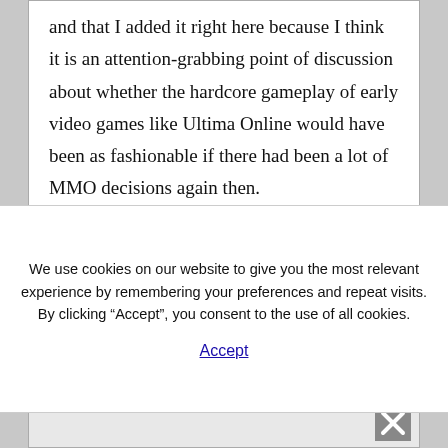and that I added it right here because I think it is an attention-grabbing point of discussion about whether the hardcore gameplay of early video games like Ultima Online would have been as fashionable if there had been a lot of MMO decisions again then.
We use cookies on our website to give you the most relevant experience by remembering your preferences and repeat visits. By clicking “Accept”, you consent to the use of all cookies.
Accept